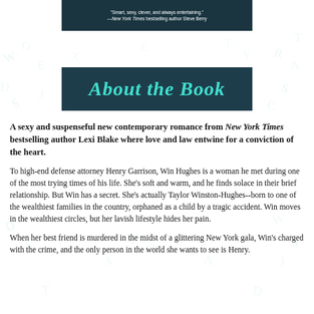[Figure (other): Top banner with dark teal background showing a quote: '"Smart, sexy, clever, and always entertaining." —New York Times bestselling author Steve Berry']
About the Book
A sexy and suspenseful new contemporary romance from New York Times bestselling author Lexi Blake where love and law entwine for a conviction of the heart.
To high-end defense attorney Henry Garrison, Win Hughes is a woman he met during one of the most trying times of his life. She's soft and warm, and he finds solace in their brief relationship. But Win has a secret. She's actually Taylor Winston-Hughes--born to one of the wealthiest families in the country, orphaned as a child by a tragic accident. Win moves in the wealthiest circles, but her lavish lifestyle hides her pain.
When her best friend is murdered in the midst of a glittering New York gala, Win's charged with the crime, and the only person in the world she wants to see is Henry.